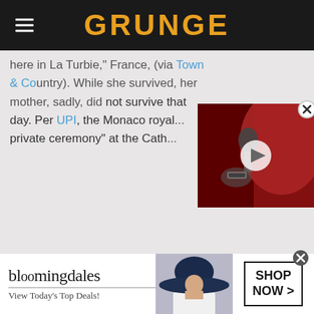GRUNGE
here in La Turbie," France, (via Town & Country). While she survived, her mother, sadly, did not survive that day. Per UPI, the Monaco royal ... private ceremony" at the Cath...
[Figure (screenshot): Embedded video thumbnail showing a singer performing with a microphone, with a play button overlay. Red and dark background.]
[Figure (photo): Bloomingdales advertisement banner showing a woman in a wide-brimmed hat with text 'bloomingdales - View Today's Top Deals!' and a 'SHOP NOW >' button.]